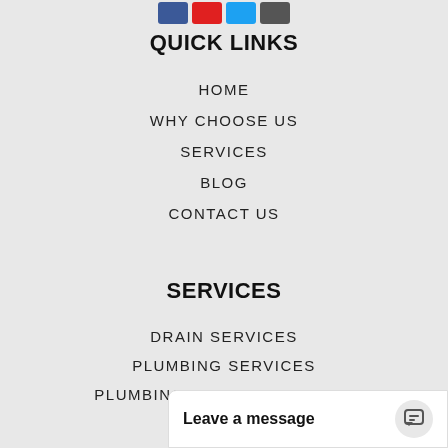[Figure (other): Social media icons: Facebook (blue), YouTube (red), Twitter (light blue), Email (dark grey)]
QUICK LINKS
HOME
WHY CHOOSE US
SERVICES
BLOG
CONTACT US
SERVICES
DRAIN SERVICES
PLUMBING SERVICES
PLUMBING HOME INSPECTION
WA...
EME...
Leave a message